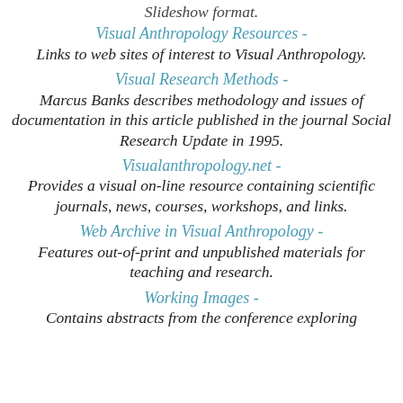Visual Anthropology Resources - Links to web sites of interest to Visual Anthropology.
Visual Research Methods - Marcus Banks describes methodology and issues of documentation in this article published in the journal Social Research Update in 1995.
Visualanthropology.net - Provides a visual on-line resource containing scientific journals, news, courses, workshops, and links.
Web Archive in Visual Anthropology - Features out-of-print and unpublished materials for teaching and research.
Working Images - Contains abstracts from the conference exploring ...